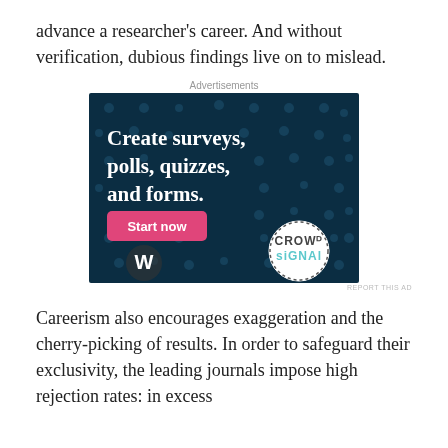advance a researcher's career. And without verification, dubious findings live on to mislead.
[Figure (other): Advertisement banner for Crowdsignal: 'Create surveys, polls, quizzes, and forms.' with a pink 'Start now' button, WordPress logo, and Crowdsignal logo on dark navy background with dot pattern.]
Careerism also encourages exaggeration and the cherry-picking of results. In order to safeguard their exclusivity, the leading journals impose high rejection rates: in excess